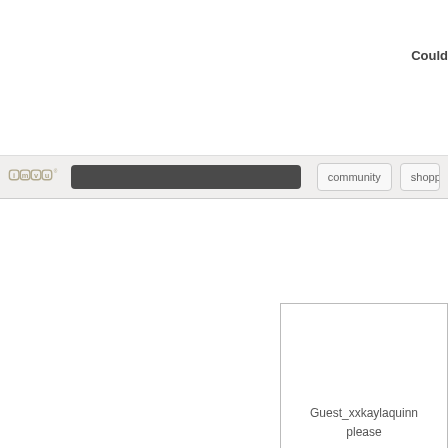Could
[Figure (screenshot): IMVU website navigation bar with logo, dark search bar, community and shopping buttons]
Guest_xxkaylaquinn please